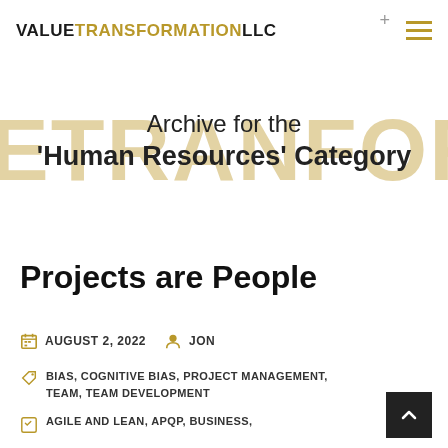VALUE TRANSFORMATION LLC
Archive for the 'Human Resources' Category
Projects are People
AUGUST 2, 2022  JON
BIAS, COGNITIVE BIAS, PROJECT MANAGEMENT, TEAM, TEAM DEVELOPMENT
AGILE AND LEAN, APQP, BUSINESS,